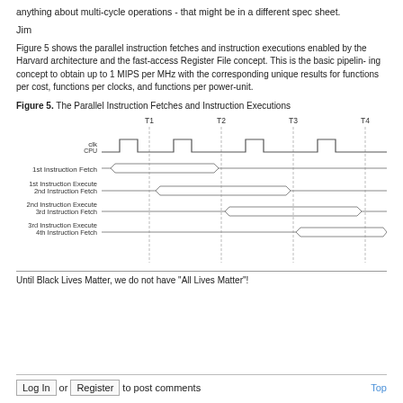anything about multi-cycle operations - that might be in a different spec sheet.
Jim
Figure 5 shows the parallel instruction fetches and instruction executions enabled by the Harvard architecture and the fast-access Register File concept. This is the basic pipelining concept to obtain up to 1 MIPS per MHz with the corresponding unique results for functions per cost, functions per clocks, and functions per power-unit.
Figure 5.  The Parallel Instruction Fetches and Instruction Executions
[Figure (engineering-diagram): Timing diagram showing parallel instruction fetches and executions. Clock signal clk_CPU with time markers T1, T2, T3, T4. Signal rows: 1st Instruction Fetch, 1st Instruction Execute / 2nd Instruction Fetch, 2nd Instruction Execute / 3rd Instruction Fetch, 3rd Instruction Execute / 4th Instruction Fetch, shown as overlapping pipeline waveforms.]
Until Black Lives Matter, we do not have "All Lives Matter"!
Log In  or  Register  to post comments    Top